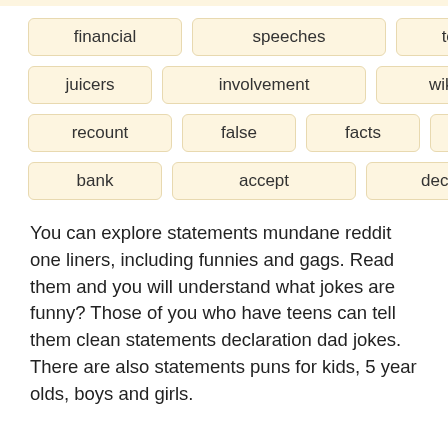financial | speeches | testimony
juicers | involvement | wikileaks
recount | false | facts | tweet
bank | accept | decline
You can explore statements mundane reddit one liners, including funnies and gags. Read them and you will understand what jokes are funny? Those of you who have teens can tell them clean statements declaration dad jokes. There are also statements puns for kids, 5 year olds, boys and girls.